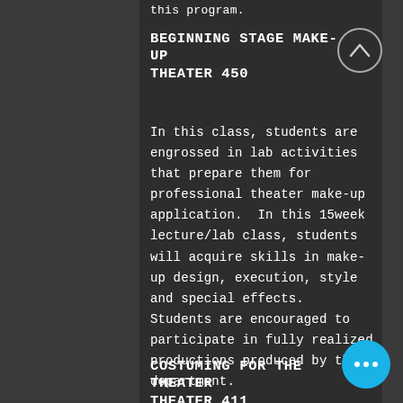this program.
BEGINNING STAGE MAKE-UP THEATER 450
In this class, students are engrossed in lab activities that prepare them for professional theater make-up application.  In this 15week lecture/lab class, students will acquire skills in make-up design, execution, style and special effects.  Students are encouraged to participate in fully realized productions produced by the department.
COSTUMING FOR THE THEATER THEATER 411